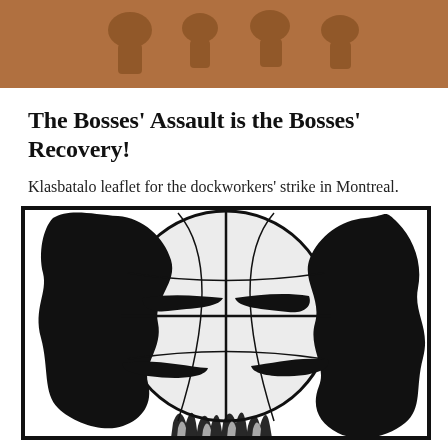[Figure (illustration): Brown/tan banner image at top of page, partially showing a faded illustration with figures, in warm brown tones.]
The Bosses' Assault is the Bosses' Recovery!
Klasbatalo leaflet for the dockworkers' strike in Montreal.
[Figure (illustration): Black and white woodcut-style illustration showing a stylized globe with fist-like landmass shapes gripping or encircling the globe, with flames at the bottom. Bold graphic black and white contrasts, militant/labor movement imagery.]